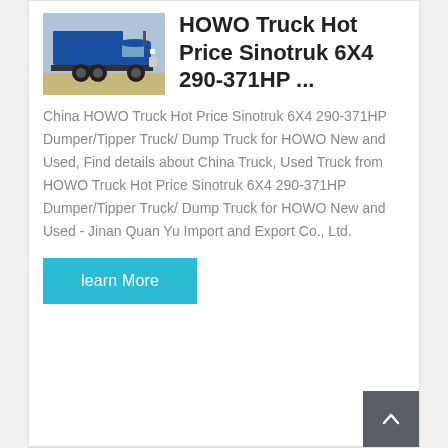[Figure (photo): Blue HOWO dump truck (Sinotruk) photographed outdoors on sandy ground]
HOWO Truck Hot Price Sinotruk 6X4 290-371HP ...
China HOWO Truck Hot Price Sinotruk 6X4 290-371HP Dumper/Tipper Truck/ Dump Truck for HOWO New and Used, Find details about China Truck, Used Truck from HOWO Truck Hot Price Sinotruk 6X4 290-371HP Dumper/Tipper Truck/ Dump Truck for HOWO New and Used - Jinan Quan Yu Import and Export Co., Ltd.
[Figure (other): Learn More button (cyan/teal background, white text)]
[Figure (other): Back to top button (dark gray, white chevron/arrow)]